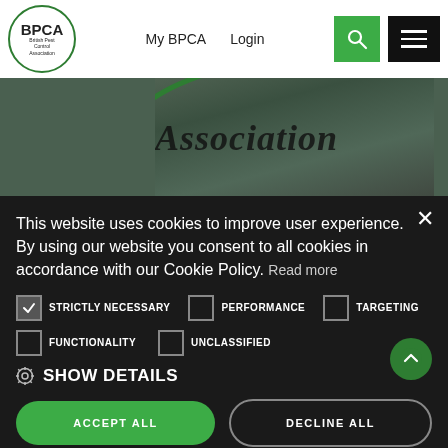[Figure (logo): BPCA (British Pest Control Association) circular logo with green border]
My BPCA   Login
[Figure (photo): Close-up photo of BPCA Association sign, dark green circular element with italic text reading 'Association']
This website uses cookies to improve user experience. By using our website you consent to all cookies in accordance with our Cookie Policy. Read more
STRICTLY NECESSARY   PERFORMANCE   TARGETING   FUNCTIONALITY   UNCLASSIFIED
SHOW DETAILS
ACCEPT ALL
DECLINE ALL